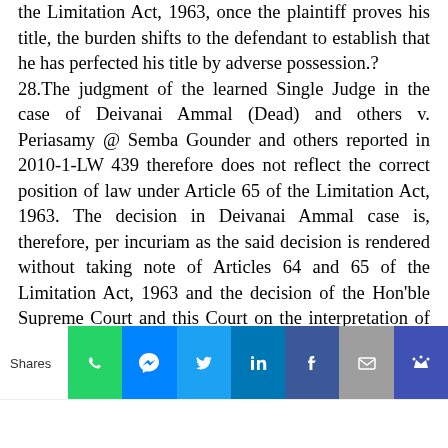the Limitation Act, 1963, once the plaintiff proves his title, the burden shifts to the defendant to establish that he has perfected his title by adverse possession.? 28.The judgment of the learned Single Judge in the case of Deivanai Ammal (Dead) and others v. Periasamy @ Semba Gounder and others reported in 2010-1-LW 439 therefore does not reflect the correct position of law under Article 65 of the Limitation Act, 1963. The decision in Deivanai Ammal case is, therefore, per incuriam as the said decision is rendered without taking note of Articles 64 and 65 of the Limitation Act, 1963 and the decision of the Hon'ble Supreme Court and this Court on the interpretation of the Articles 64 and 65 of the Limitation Act, 1963. 29.The learned counsel for the appellant relied upon the judgment of a learned Single Judge of this Court in the case of Lakshminarayana Padayachi v. Subramaniyam (Deceased) and others in S.A.No.1305 of 2001, dated 20.11.2017 wherein it has been held as follows:
[Figure (infographic): Social sharing bar with Shares label and icons for WhatsApp, Messenger, Twitter, LinkedIn, Facebook, Email, and Crown/bookmark]